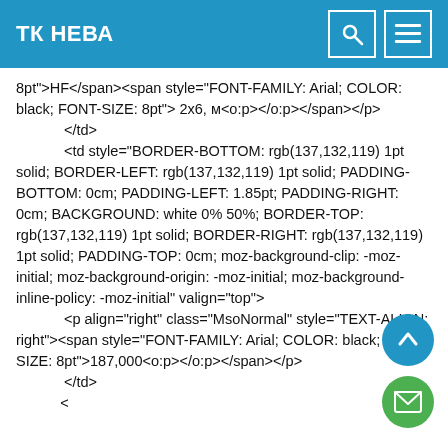ТК НЕВА
8pt">HF</span><span style="FONT-FAMILY: Arial; COLOR: black; FONT-SIZE: 8pt"> 2x6, м<o:p></o:p></span></p>
            </td>
            <td style="BORDER-BOTTOM: rgb(137,132,119) 1pt solid; BORDER-LEFT: rgb(137,132,119) 1pt solid; PADDING-BOTTOM: 0cm; PADDING-LEFT: 1.85pt; PADDING-RIGHT: 0cm; BACKGROUND: white 0% 50%; BORDER-TOP: rgb(137,132,119) 1pt solid; BORDER-RIGHT: rgb(137,132,119) 1pt solid; PADDING-TOP: 0cm; moz-background-clip: -moz-initial; moz-background-origin: -moz-initial; moz-background-inline-policy: -moz-initial" valign="top">
            <p align="right" class="MsoNormal" style="TEXT-ALIGN: right"><span style="FONT-FAMILY: Arial; COLOR: black; FONT-SIZE: 8pt">187,000<o:p></o:p></span></p>
            </td>